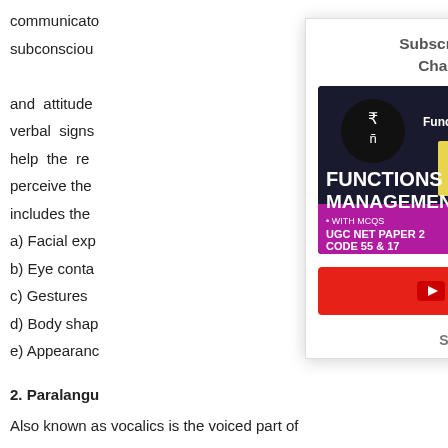communicate subconsciously and attitude verbal signs help the receiver perceive the includes the
a) Facial expressions
b) Eye contact
c) Gestures
d) Body shape
e) Appearance
2. Paralanguage
Also known as vocalics is the voiced part of a
[Figure (screenshot): YouTube subscription popup modal overlay. Contains title 'Subscribe to Simplynotes Channel on YouTube', a video thumbnail showing 'Functions of Ma...' with Functions of Management text, a red SUBSCRIBE button with YouTube play icon, a bell notification icon, and 'Subscribe & Support Us!' text. A teal CLOSE button is in the top right corner.]